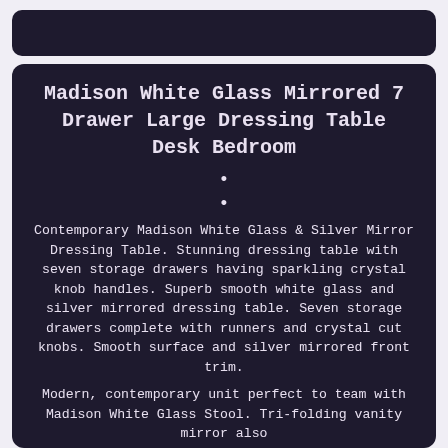Madison White Glass Mirrored 7 Drawer Large Dressing Table Desk Bedroom
•
•
Contemporary Madison White Glass & Silver Mirror Dressing Table. Stunning dressing table with seven storage drawers having sparkling crystal knob handles. Superb smooth white glass and silver mirrored dressing table. Seven storage drawers complete with runners and crystal cut knobs. Smooth surface and silver mirrored front trim.
Modern, contemporary unit perfect to team with Madison White Glass Stool. Tri-folding vanity mirror also